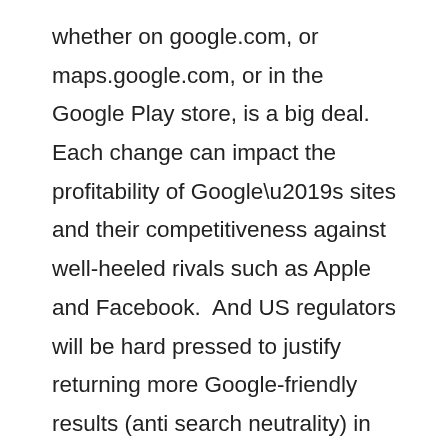whether on google.com, or maps.google.com, or in the Google Play store, is a big deal.  Each change can impact the profitability of Google’s sites and their competitiveness against well-heeled rivals such as Apple and Facebook.  And US regulators will be hard pressed to justify returning more Google-friendly results (anti search neutrality) in light of their recently enacted network rules (there’s a lot here, but if you are interested in the US Dept of Justice and FCC investigations into Google’s network practices that were subsequently dropped in early 2013...